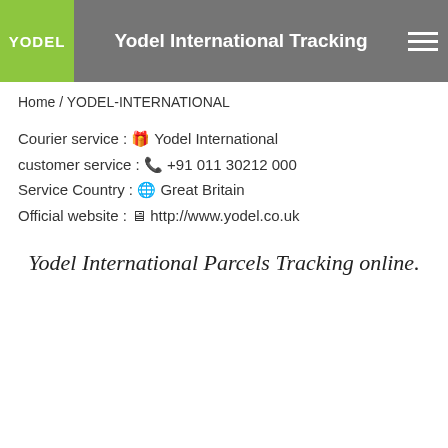Yodel International Tracking
Home / YODEL-INTERNATIONAL
Courier service : 🎁 Yodel International
customer service : 📞 +91 011 30212 000
Service Country : 🌍 Great Britain
Official website : 🖥 http://www.yodel.co.uk
Yodel International Parcels Tracking online.